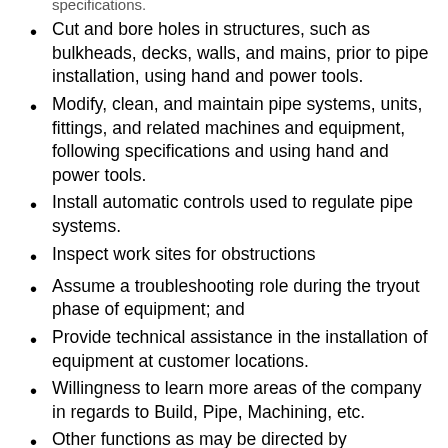Cut and bore holes in structures, such as bulkheads, decks, walls, and mains, prior to pipe installation, using hand and power tools.
Modify, clean, and maintain pipe systems, units, fittings, and related machines and equipment, following specifications and using hand and power tools.
Install automatic controls used to regulate pipe systems.
Inspect work sites for obstructions
Assume a troubleshooting role during the tryout phase of equipment; and
Provide technical assistance in the installation of equipment at customer locations.
Willingness to learn more areas of the company in regards to Build, Pipe, Machining, etc.
Other functions as may be directed by Management.